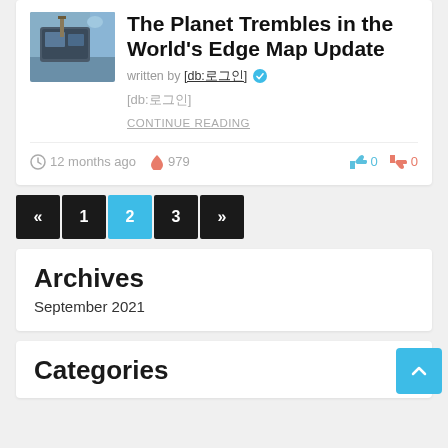The Planet Trembles in the World's Edge Map Update
written by [db:로그인] ✓
[db:로그인]
CONTINUE READING
12 months ago  979  0  0
« 1 2 3 »
Archives
September 2021
Categories